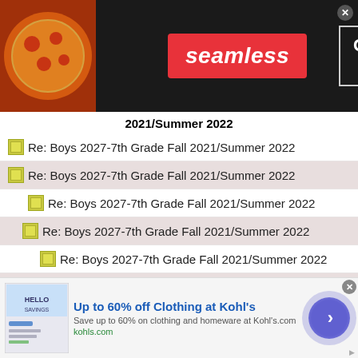[Figure (screenshot): Seamless food delivery advertisement banner with pizza image, red Seamless logo, and ORDER NOW button on dark background]
2021/Summer 2022
Re: Boys 2027-7th Grade Fall 2021/Summer 2022
Re: Boys 2027-7th Grade Fall 2021/Summer 2022
Re: Boys 2027-7th Grade Fall 2021/Summer 2022
Re: Boys 2027-7th Grade Fall 2021/Summer 2022
Re: Boys 2027-7th Grade Fall 2021/Summer 2022
Re: Boys 2027-7th Grade Fall 2021/Summer 2022
Re: Boys 2027-7th Grade Fall 2021/Summer 2022
Re: Boys 2027-7th Grade Fall 2021/Summer 2022
Re: Boys 2027-7th Grade Fall 2021/Summer 2022
Re: Boys 2027-7th Grade Fall 2021/Summer 2022
[Figure (screenshot): Kohl's advertisement: Up to 60% off Clothing at Kohl's, Save up to 60% on clothing and homeware at Kohl's.com, kohls.com, with navigation arrow button]